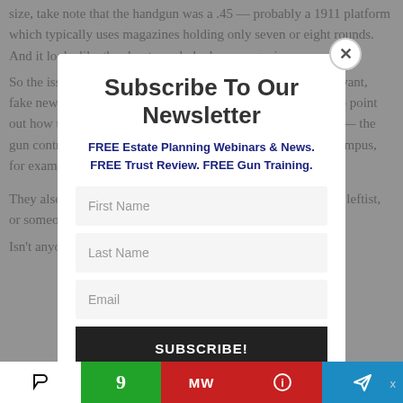size, take note that the handgun was a .45 — probably a 1911 platform which typically uses magazines holding only seven or eight rounds. And it looks like the shooter only had one magazine.
So the issue of capacity continues. The media brings up irrelevant, fake news pieces about significant laws passed and they fail to point out how the gun control they've already passed is killing kids — the gun control that banned CCW holders (even teachers) from campus, for example.
They also fail to point out how almost every mass shooter is a leftist, or someone on psych drugs, or by a leftist on psych drugs.
Isn't anyone disturbed to see, after every such shooting, Democrat-linked media and politicians start...
[Figure (screenshot): Newsletter subscription modal popup with title 'Subscribe To Our Newsletter', subtitle 'FREE Estate Planning Webinars & News. FREE Trust Review. FREE Gun Training.', input fields for First Name, Last Name, Email, and a SUBSCRIBE! button. A close button (x) appears in the top right corner of the modal. Background shows dimmed article text.]
Practice dead...
[Figure (screenshot): Bottom social sharing toolbar with icons for Parler (P), Gab (9), MeWe (MW), Informer (i), and Telegram (paper plane) in white, green, red, red, and blue buttons respectively. An X close button appears at the right.]